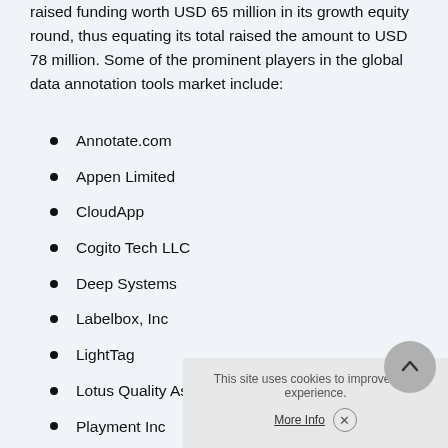raised funding worth USD 65 million in its growth equity round, thus equating its total raised the amount to USD 78 million. Some of the prominent players in the global data annotation tools market include:
Annotate.com
Appen Limited
CloudApp
Cogito Tech LLC
Deep Systems
Labelbox, Inc
LightTag
Lotus Quality Assurance
Playment Inc
Tagtog Sp. z o.o